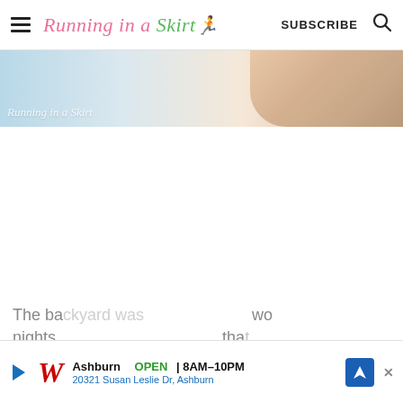Running in a Skirt — SUBSCRIBE
[Figure (photo): Hero banner image showing a partial view of a person, with light blue on left and skin-toned area on right. Watermark text 'Running in a Skirt' overlaid on lower left.]
The ba...wo nights...that
[Figure (other): Walgreens advertisement banner: Ashburn OPEN 8AM-10PM, 20321 Susan Leslie Dr, Ashburn. Shows Walgreens W logo and navigation arrow icon.]